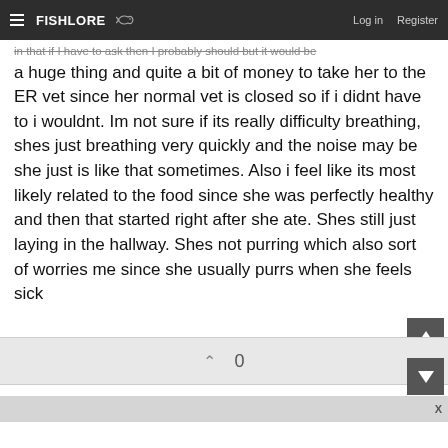FishLore | Log in | Register
in that if I have to ask then I probably should but it would be a huge thing and quite a bit of money to take her to the ER vet since her normal vet is closed so if i didnt have to i wouldnt. Im not sure if its really difficulty breathing, shes just breathing very quickly and the noise may be she just is like that sometimes. Also i feel like its most likely related to the food since she was perfectly healthy and then that started right after she ate. Shes still just laying in the hallway. Shes not purring which also sort of worries me since she usually purrs when she feels sick
0